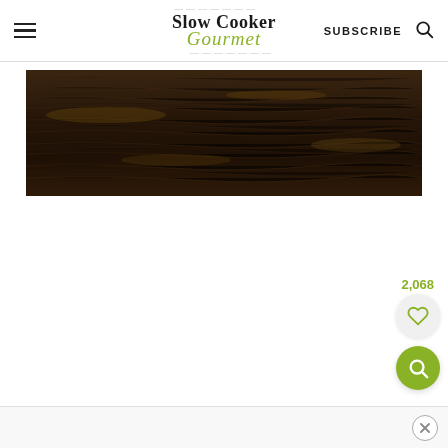Slow Cooker Gourmet — SUBSCRIBE
[Figure (photo): Dark brown weathered wood plank texture, horizontal grain pattern]
2,068
[Figure (illustration): Heart icon button on light gray circle]
[Figure (illustration): Search/magnify icon on green circle button]
Close button (X)